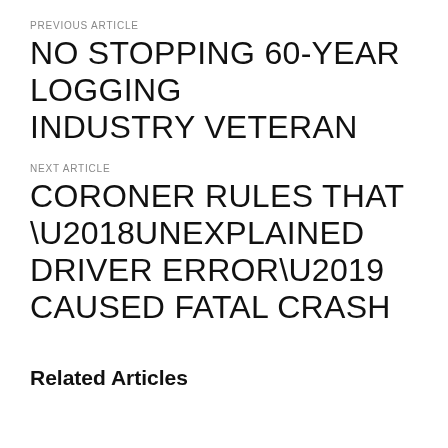PREVIOUS ARTICLE
NO STOPPING 60-YEAR LOGGING INDUSTRY VETERAN
NEXT ARTICLE
CORONER RULES THAT ‘UNEXPLAINED DRIVER ERROR’ CAUSED FATAL CRASH
Related Articles